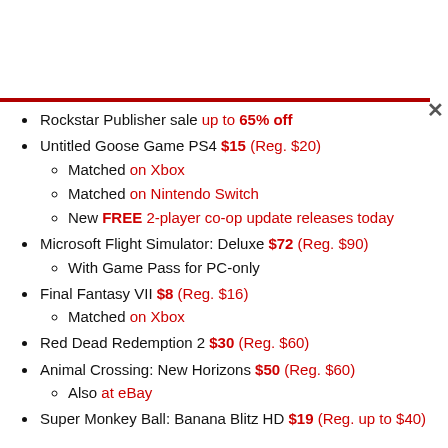Rockstar Publisher sale up to 65% off
Untitled Goose Game PS4 $15 (Reg. $20)
Matched on Xbox
Matched on Nintendo Switch
New FREE 2-player co-op update releases today
Microsoft Flight Simulator: Deluxe $72 (Reg. $90)
With Game Pass for PC-only
Final Fantasy VII $8 (Reg. $16)
Matched on Xbox
Red Dead Redemption 2 $30 (Reg. $60)
Animal Crossing: New Horizons $50 (Reg. $60)
Also at eBay
Super Monkey Ball: Banana Blitz HD $19 (Reg. up to $40)